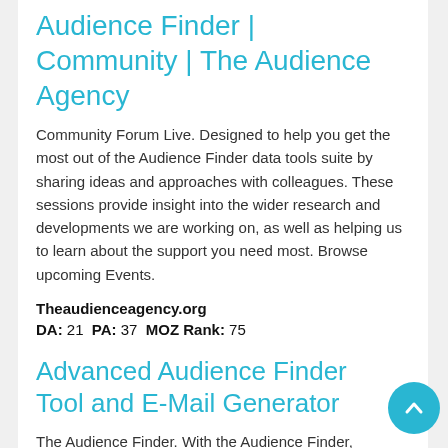Audience Finder | Community | The Audience Agency
Community Forum Live. Designed to help you get the most out of the Audience Finder data tools suite by sharing ideas and approaches with colleagues. These sessions provide insight into the wider research and developments we are working on, as well as helping us to learn about the support you need most. Browse upcoming Events.
Theaudienceagency.org
DA: 21  PA: 37  MOZ Rank: 75
Advanced Audience Finder Tool and E-Mail Generator
The Audience Finder. With the Audience Finder,